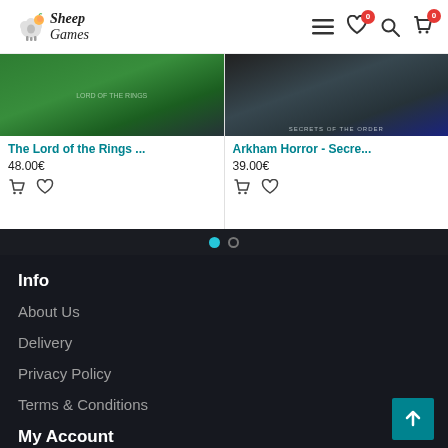Sheep Games - navigation header with logo, menu, wishlist (0), search, cart (0)
[Figure (screenshot): Product card: The Lord of the Rings ... - 48.00€ with add to cart and wishlist icons]
[Figure (screenshot): Product card: Arkham Horror - Secre... - 39.00€ with add to cart and wishlist icons]
Info
About Us
Delivery
Privacy Policy
Terms & Conditions
My Account